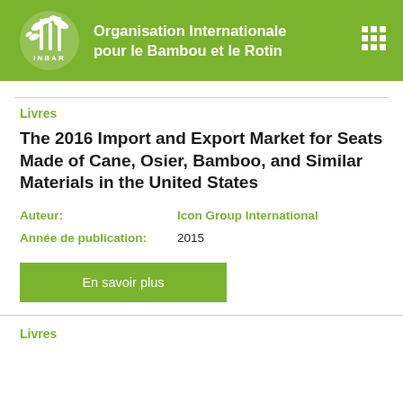Organisation Internationale pour le Bambou et le Rotin
Livres
The 2016 Import and Export Market for Seats Made of Cane, Osier, Bamboo, and Similar Materials in the United States
Auteur: Icon Group International
Année de publication: 2015
En savoir plus
Livres